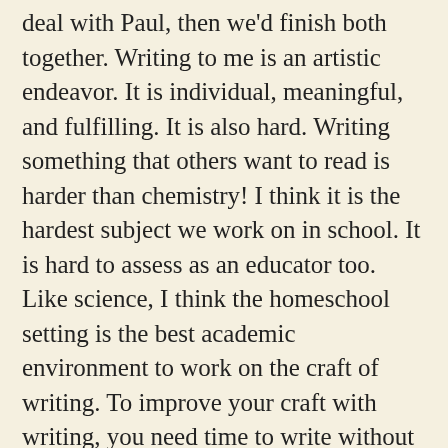deal with Paul, then we'd finish both together. Writing to me is an artistic endeavor. It is individual, meaningful, and fulfilling. It is also hard. Writing something that others want to read is harder than chemistry! I think it is the hardest subject we work on in school. It is hard to assess as an educator too. Like science, I think the homeschool setting is the best academic environment to work on the craft of writing. To improve your craft with writing, you need time to write without artificial deadlines. I think working on becoming skilled at timed writing (which we are going to work on over the next school year) is a ridiculous waste of time. It is an essential skill because of the SAT, but an irrelevant skill when it comes to crafting writing pieces worth reading! My absolute favorite book about the craft of writing is Wondrous Words by Katie Wood